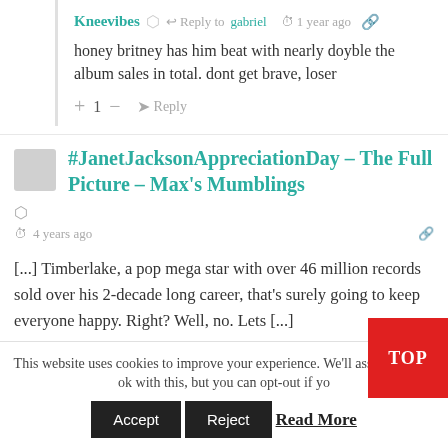Kneevibes · Reply to gabriel · 1 year ago
honey britney has him beat with nearly doyble the album sales in total. dont get brave, loser
+ 1 - → Reply
#JanetJacksonAppreciationDay – The Full Picture – Max's Mumblings
4 years ago
[...] Timberlake, a pop mega star with over 46 million records sold over his 2-decade long career, that's surely going to keep everyone happy. Right? Well, no. Lets [...]
This website uses cookies to improve your experience. We'll assume you're ok with this, but you can opt-out if you want.
Accept  Reject  Read More